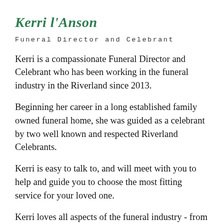Kerri l'Anson
Funeral Director and Celebrant
Kerri is a compassionate Funeral Director and Celebrant who has been working in the funeral industry in the Riverland since 2013.
Beginning her career in a long established family owned funeral home, she was guided as a celebrant by two well known and respected Riverland Celebrants.
Kerri is easy to talk to, and will meet with you to help and guide you to choose the most fitting service for your loved one.
Kerri loves all aspects of the funeral industry - from transferring and caring for your loved one in